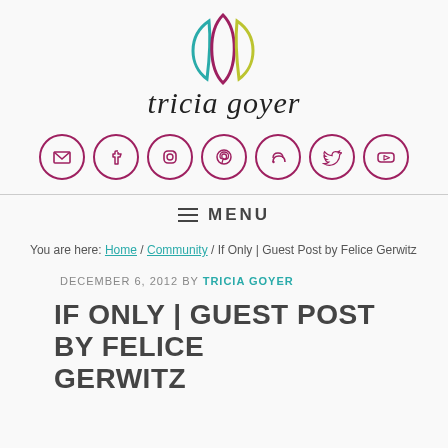[Figure (logo): Tricia Goyer blog logo: stylized leaf/petal shapes in teal, magenta, and yellow-green, with cursive 'tricia goyer' text below]
[Figure (infographic): Row of 7 social media icon circles in magenta outline: email, Facebook, Instagram, Pinterest, RSS, Twitter, YouTube]
≡ MENU
You are here: Home / Community / If Only | Guest Post by Felice Gerwitz
DECEMBER 6, 2012 BY TRICIA GOYER
IF ONLY | GUEST POST BY FELICE GERWITZ